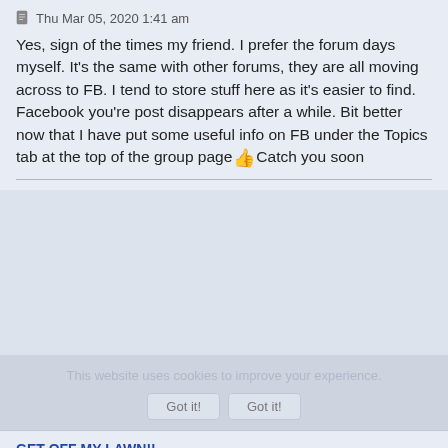Thu Mar 05, 2020 1:41 am
Yes, sign of the times my friend. I prefer the forum days myself. It's the same with other forums, they are all moving across to FB. I tend to store stuff here as it's easier to find. Facebook you're post disappears after a while. Bit better now that I have put some useful info on FB under the Topics tab at the top of the group page 👍Catch you soon
GET OFF MY LAWN!!
{BIG C}